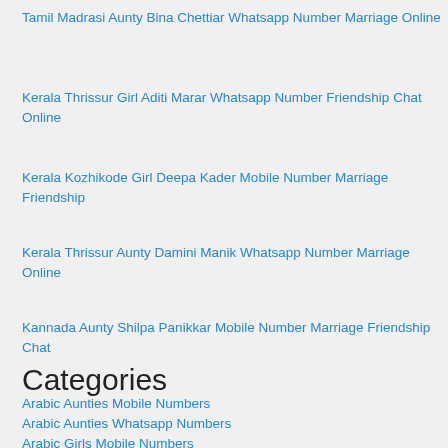Tamil Madrasi Aunty Bina Chettiar Whatsapp Number Marriage Online
Kerala Thrissur Girl Aditi Marar Whatsapp Number Friendship Chat Online
Kerala Kozhikode Girl Deepa Kader Mobile Number Marriage Friendship
Kerala Thrissur Aunty Damini Manik Whatsapp Number Marriage Online
Kannada Aunty Shilpa Panikkar Mobile Number Marriage Friendship Chat
Categories
Arabic Aunties Mobile Numbers
Arabic Aunties Whatsapp Numbers
Arabic Girls Mobile Numbers